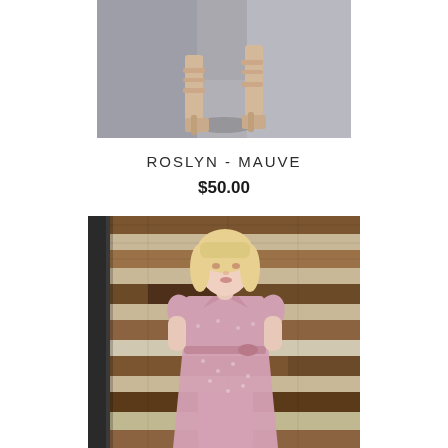[Figure (photo): Close-up photo of a woman's feet wearing nude heeled sandals on a concrete surface, cropped at the top of the page]
ROSLYN - MAUVE
$50.00
[Figure (photo): Full-length photo of a blonde woman wearing a mauve/dusty pink wrap dress with short flutter sleeves and a tie waist, standing in front of a rustic wood plank wall with alternating stained and white-painted boards, with a dark metal pillar on the left]